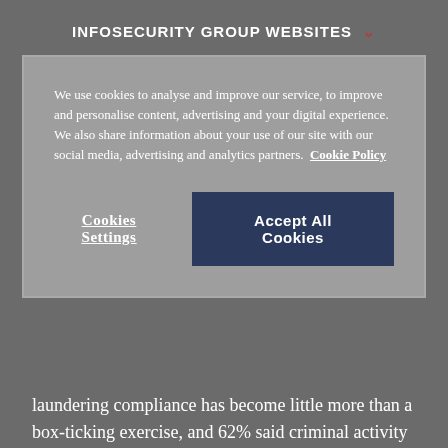INFOSECURITY GROUP WEBSITES
We use cookies to analyse and improve our service, to improve and personalise content, advertising and your digital experience. We also share information about your use of our site with our social media, advertising and analytics partners. Cookie Policy
Cookies Settings | Accept All Cookies
laundering compliance has become little more than a box-ticking exercise, and 62% said criminal activity is getting harder to spot.
The FBI has in the past published alerts warning that traffickers increasingly use online platforms and services to recruit their victims.
Recommended for you